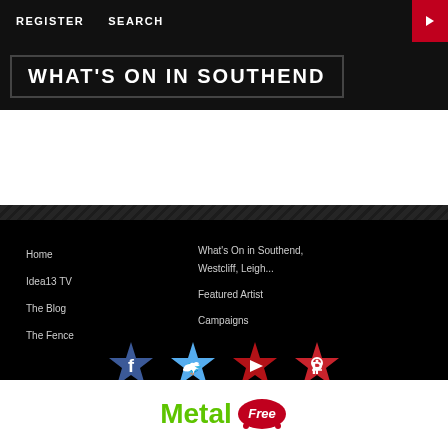REGISTER   SEARCH
WHAT'S ON IN SOUTHEND
Home
Idea13 TV
The Blog
The Fence
What's On in Southend, Westcliff, Leigh...
Featured Artist
Campaigns
[Figure (logo): Social media icons: Facebook (blue star badge), Twitter (light blue star badge), YouTube play (red star badge), Pinterest (red star badge)]
[Figure (logo): Metal Free Nation logo in green and red script]